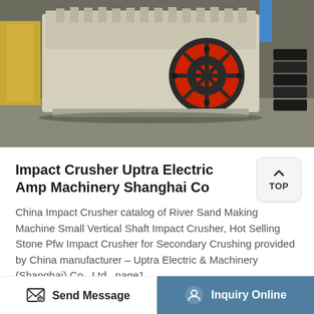[Figure (photo): Industrial impact crusher machine in a factory setting. Large beige/cream colored crushing equipment with a prominent red and black flywheel/pulley visible. Various crusher components stacked in the background.]
Impact Crusher Uptra Electric Amp Machinery Shanghai Co
China Impact Crusher catalog of River Sand Making Machine Small Vertical Shaft Impact Crusher, Hot Selling Stone Pfw Impact Crusher for Secondary Crushing provided by China manufacturer – Uptra Electric & Machinery (Shanghai) Co., Ltd., page1.
Get More
Send Message   Inquiry Online